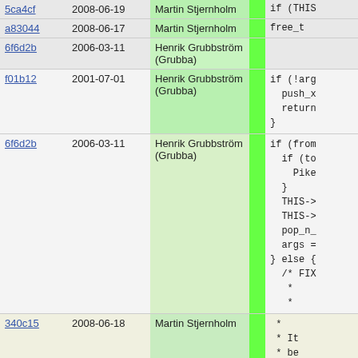| hash | date | author | code |
| --- | --- | --- | --- |
| 5ca4cf | 2008-06-19 | Martin Stjernholm | if (THIS |
| a83044 | 2008-06-17 | Martin Stjernholm | free_t |
| 6f6d2b | 2006-03-11 | Henrik Grubbström (Grubba) |  |
| f01b12 | 2001-07-01 | Henrik Grubbström (Grubba) | if (!arg
  push_x
  return
} |
| 6f6d2b | 2006-03-11 | Henrik Grubbström (Grubba) | if (from
  if (to
    Pike
  }
  THIS->
  THIS->
  pop_n_
  args =
} else {
  /* FIX
   *
   * |
| 340c15 | 2008-06-18 | Martin Stjernholm |  *
 * It
 * be |
| 6f6d2b | 2006-03-11 | Henrik Grubbström (Grubba) |  */
if (!t
  Pike
} |